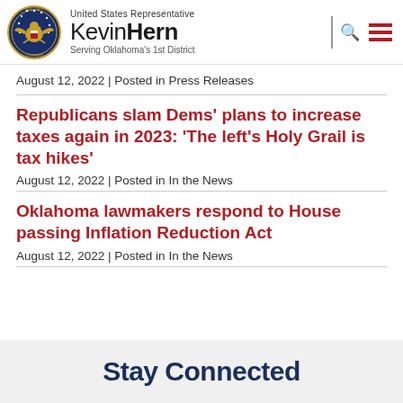United States Representative Kevin Hern Serving Oklahoma's 1st District
August 12, 2022 | Posted in Press Releases
Republicans slam Dems' plans to increase taxes again in 2023: 'The left's Holy Grail is tax hikes'
August 12, 2022 | Posted in In the News
Oklahoma lawmakers respond to House passing Inflation Reduction Act
August 12, 2022 | Posted in In the News
Stay Connected